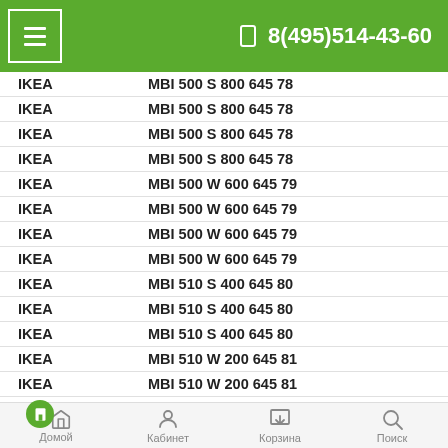≡  8(495)514-43-60
| Brand | Model |
| --- | --- |
| IKEA | МВI 500 S 800 645 78 |
| IKEA | МВI 500 S 800 645 78 |
| IKEA | МВI 500 S 800 645 78 |
| IKEA | МВI 500 S 800 645 78 |
| IKEA | МВI 500 W 600 645 79 |
| IKEA | МВI 500 W 600 645 79 |
| IKEA | МВI 500 W 600 645 79 |
| IKEA | МВI 500 W 600 645 79 |
| IKEA | МВI 510 S 400 645 80 |
| IKEA | МВI 510 S 400 645 80 |
| IKEA | МВI 510 S 400 645 80 |
| IKEA | МВI 510 W 200 645 81 |
| IKEA | МВI 510 W 200 645 81 |
| IKEA | МВI 510 W 200 645 81 |
| IKEA | МВI 540 S 000 645 82 |
| IKEA | МВI 540 S 000 645 82 |
| IKEA | МВI 540 S 000 645 82 |
| IKEA | МВI 540 W 800 645 83 |
| ИКЕА | МВI 540 W 800 645 8… |
Домой  Кабинет  Корзина  Поиск